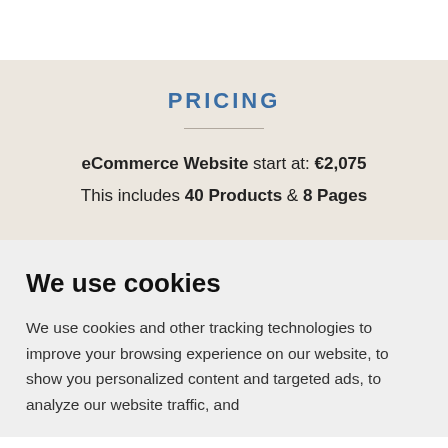PRICING
eCommerce Website start at: €2,075
This includes 40 Products & 8 Pages
We use cookies
We use cookies and other tracking technologies to improve your browsing experience on our website, to show you personalized content and targeted ads, to analyze our website traffic, and